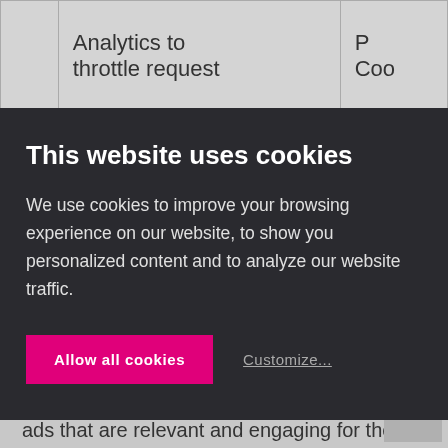|  | Analytics to throttle request | P
Coo |
This website uses cookies
We use cookies to improve your browsing experience on our website, to show you personalized content and to analyze our website traffic.
Allow all cookies
Customize...
Marketing cookies are used to track visitors across websites. The intention is to display ads that are relevant and engaging for the individual user and